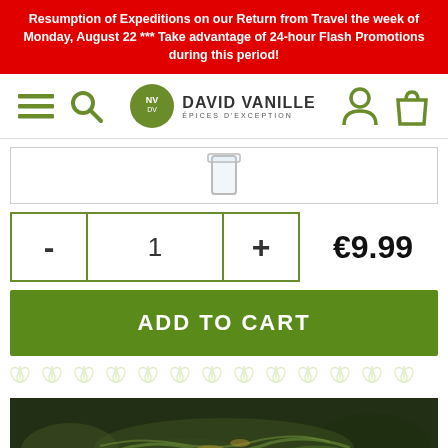Resumption of Expeditions on our Return from Travel the week of Monday, August 22 *** Take advantage of 24-hour Flash Promotions during this period!
[Figure (logo): David Vanille Epices d'Exception logo with navigation icons (hamburger menu, search, user, cart)]
[Figure (photo): Product image showing a glass jar or container viewed from above]
- 1 + €9.99
ADD TO CART
[Figure (illustration): Decorative repeating leaf/plant pattern in light green]
[Figure (photo): Close-up photo of green tea leaves or spices in a bowl/plate]